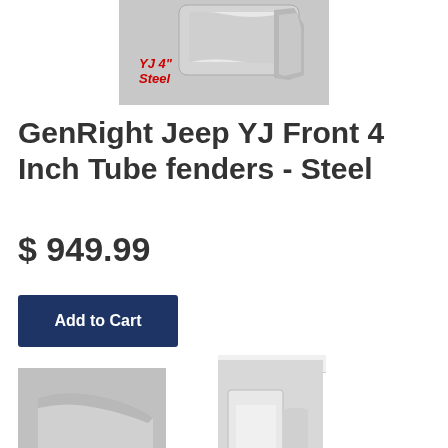[Figure (photo): Product photo showing GenRight Jeep YJ front tube fender in steel, with red italic label 'YJ 4" Steel' overlaid]
GenRight Jeep YJ Front 4 Inch Tube fenders - Steel
$ 949.99
Add to Cart
[Figure (photo): Thumbnail product photo of YJ 4" Steel tube fender from angle view with red italic label]
[Figure (photo): Thumbnail photo showing fender installed on a Jeep YJ vehicle]